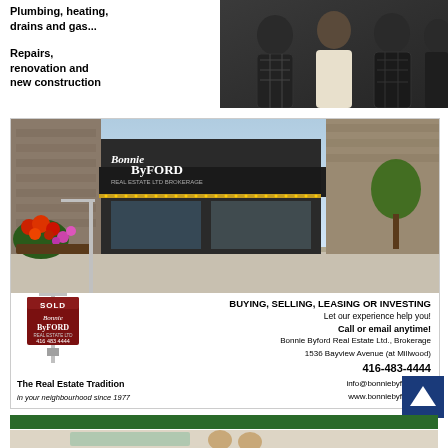Plumbing, heating, drains and gas...

Repairs, renovation and new construction
[Figure (photo): Group photo of workers in dark plaid shirts]
[Figure (photo): Bonnie Byford Real Estate storefront on Bayview Avenue with flowers and sold sign]
BUYING, SELLING, LEASING OR INVESTING
Let our experience help you!
Call or email anytime!
Bonnie Byford Real Estate Ltd., Brokerage
1536 Bayview Avenue (at Millwood)
416-483-4444
info@bonniebyford.com
www.bonniebyford.com
The Real Estate Tradition
in your neighbourhood since 1977
[Figure (other): Dark blue back-to-top arrow button]
[Figure (other): Green bar header of bottom advertisement]
[Figure (photo): Bottom advertisement strip with person photo]